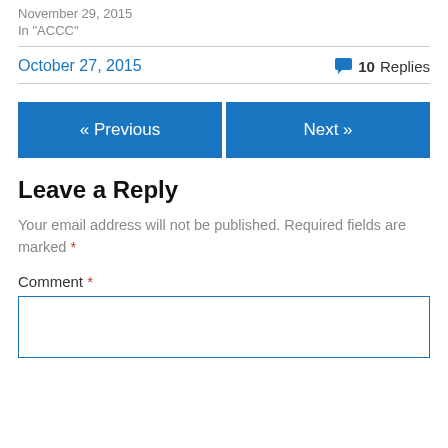November 29, 2015
In "ACCC"
October 27, 2015   💬 10 Replies
« Previous
Next »
Leave a Reply
Your email address will not be published. Required fields are marked *
Comment *